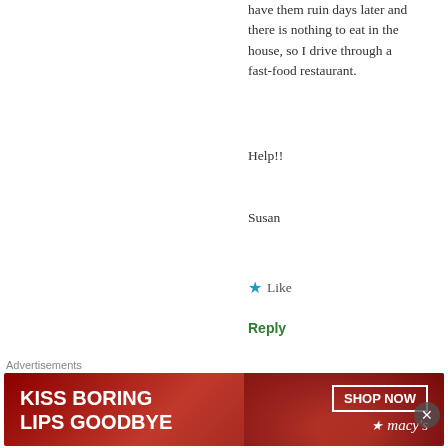have them ruin days later and there is nothing to eat in the house, so I drive through a fast-food restaurant.
Help!!
Susan
★ Like
Reply
[Figure (photo): Circular avatar photo of commenter Carolyn]
Carolyn | October 6, 2013 at 8:06 am
👍 2 👎 3 ℹ Rate This
Hi Susan.. I will be updating my blog properly this evening as I've a lot to address and get off my
Advertisements
[Figure (infographic): Macy's advertisement banner: KISS BORING LIPS GOODBYE with SHOP NOW button and Macy's star logo]